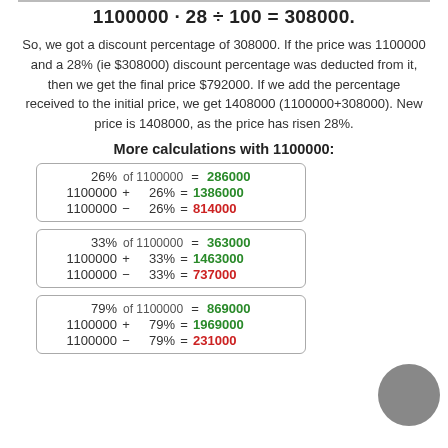So, we got a discount percentage of 308000. If the price was 1100000 and a 28% (ie $308000) discount percentage was deducted from it, then we get the final price $792000. If we add the percentage received to the initial price, we get 1408000 (1100000+308000). New price is 1408000, as the price has risen 28%.
More calculations with 1100000:
| 26% | of 1100000 = | 286000 |
| 1100000 + | 26% | = 1386000 |
| 1100000 - | 26% | = 814000 |
| 33% | of 1100000 = | 363000 |
| 1100000 + | 33% | = 1463000 |
| 1100000 - | 33% | = 737000 |
| 79% | of 1100000 = | 869000 |
| 1100000 + | 79% | = 1969000 |
| 1100000 - | 79% | = 231000 |